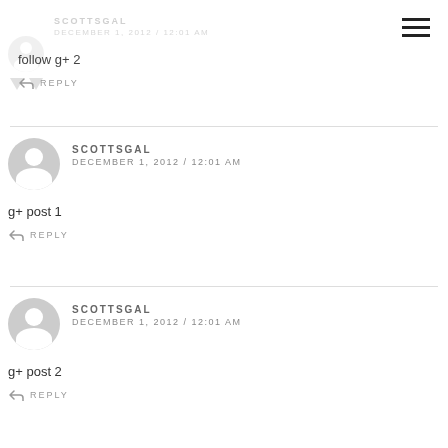[Figure (screenshot): Hamburger menu icon (three horizontal lines) in top-right corner]
SCOTTSGAL
DECEMBER 1, 2012 / 12:01 AM
follow g+ 2
REPLY
SCOTTSGAL
DECEMBER 1, 2012 / 12:01 AM
g+ post 1
REPLY
SCOTTSGAL
DECEMBER 1, 2012 / 12:01 AM
g+ post 2
REPLY